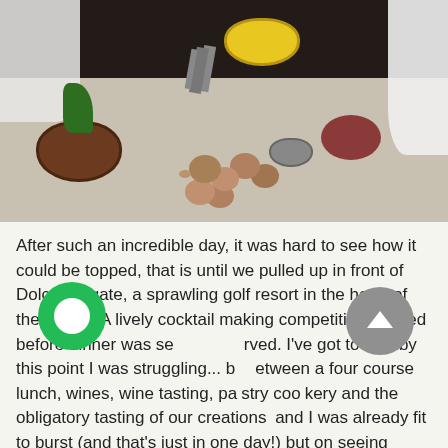[Figure (photo): A cooking scene viewed from above, showing people in aprons around a large table covered with small round pastry shells, a brown clay bowl with stewed filling and a spoon, fresh green herbs, a yellow bowl in the background, metal utensils in a container, a metal bowl, and what appears to be salami on the right side. The background at the top is dark.]
After such an incredible day, it was hard to see how it could be topped, that is until we pulled up in front of Dolce Frégate, a sprawling golf resort in the heart of the region! A lively cocktail making competition ensued before dinner was served. I've got to say, by this point I was struggling... between a four course lunch, wines, wine tasting, pastry cookery and the obligatory tasting of our creations and I was already fit to burst (and that's just in one day!) but on seeing